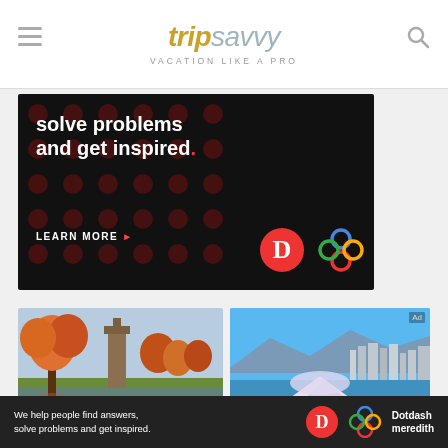tripsavvy VACATION LIKE A PRO
[Figure (photo): Advertisement banner: dark background with red dot pattern, white bold text 'solve problems and get inspired.' with red period, 'LEARN MORE' button with red arrow, D logo and colorful knot logo]
[Figure (photo): Autumn scene with orange/red trees, a tower or church building, and a pond reflecting fall foliage]
[Figure (photo): Aerial or elevated view of a city skyline (Vancouver) with blue sky, mountains in background, waterfront with tent structures]
We help people find answers, solve problems and get inspired. Dotdash meredith